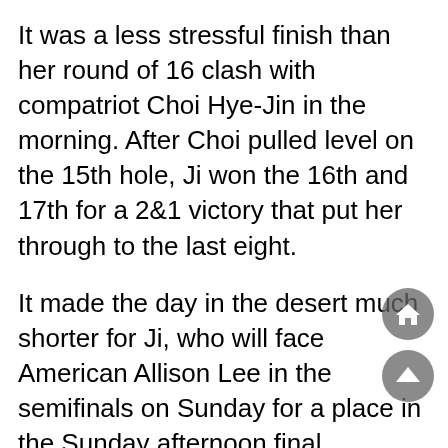It was a less stressful finish than her round of 16 clash with compatriot Choi Hye-Jin in the morning. After Choi pulled level on the 15th hole, Ji won the 16th and 17th for a 2&1 victory that put her through to the last eight.
It made the day in the desert much shorter for Ji, who will face American Allison Lee in the semifinals on Sunday for a place in the Sunday afternoon final.
It was a longer slog for Lee as well as semifinalists Lydia Vu and Ayaka Furue of Japan.
"It was just a real grind out there'', Lee said after she battled back to beat Scotland's Gemma